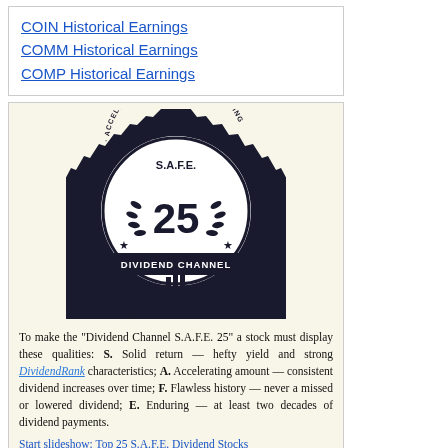COIN Historical Earnings
COMM Historical Earnings
COMP Historical Earnings
[Figure (logo): SAFE 25 Dividend Channel badge/seal — circular emblem with spiky border, text reading 'SOLID · ACCELERATING · FLAWLESS · ENDURING' around the rim, 'S.A.F.E.' at top, large '25' in center, laurel branches, stars, bar chart icon, and 'DIVIDEND CHANNEL' banner at bottom.]
To make the "Dividend Channel S.A.F.E. 25" a stock must display these qualities: S. Solid return — hefty yield and strong DividendRank characteristics; A. Accelerating amount — consistent dividend increases over time; F. Flawless history — never a missed or lowered dividend; E. Enduring — at least two decades of dividend payments.
Start slideshow: Top 25 S.A.F.E. Dividend Stocks
What was the record high CLSK historical earnings result?
In terms of earnings or revenue, what is the best CLSK